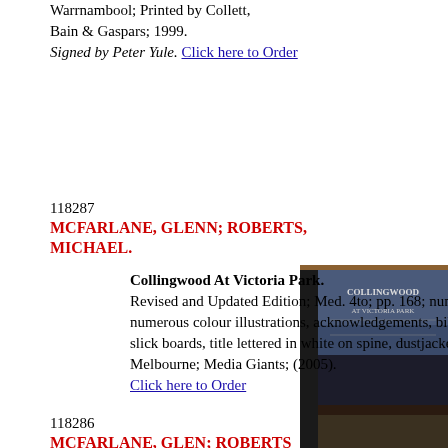Warrnambool; Printed by Collett, Bain & Gaspars; 1999. Signed by Peter Yule. Click here to Order
AUD$45
118287
MCFARLANE, GLENN; ROBERTS, MICHAEL.
Collingwood At Victoria Park. Revised and Updated Edition; Med. 4to; pp. 168; numerous b/w illustrations, numerous colour illustrations, acknowledgements, bibliography, bound in original slick boards, title lettered in white on spine, dustjacket, very good copy. Melbourne; Media Giants; (2005). Click here to Order
AUD$50
[Figure (photo): Book cover of Collingwood At Victoria Park standing upright against a background of bookshelves]
118286
MCFARLANE, GLEN; ROBERTS